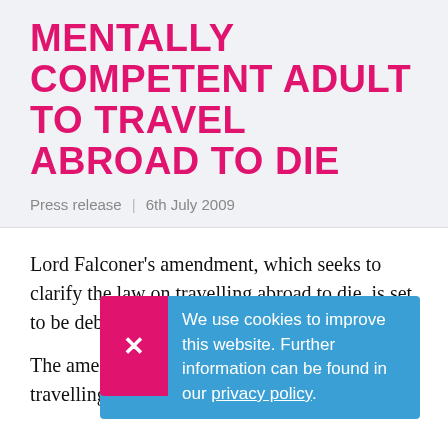MENTALLY COMPETENT ADULT TO TRAVEL ABROAD TO DIE
Press release | 6th July 2009
Lord Falconer's amendment, which seeks to clarify the law on travelling abroad to die, is set [to be debated in the House of Lords] ton[ight.]
The [amendment] [seeks to clarify] t the [law that] trav[elling abroad to die is not a] [crime] a
We use cookies to improve this website. Further information can be found in our privacy policy.